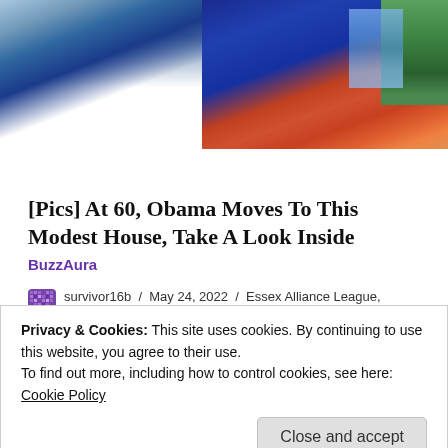[Figure (photo): Cropped photo showing two people outdoors — one in a light blue checkered shirt, one in a dark blue dress — with greenery and structures in the background.]
[Pics] At 60, Obama Moves To This Modest House, Take A Look Inside
BuzzAura
survivor16b / May 24, 2022 / Essex Alliance League, Feature, Intermediate Football, Match Reports (Football), NonLeague, Season 2021-22 / DT FC, EAL Fenton Cup, EAL Senior Division, Essex, Essex Alliance League, Football
Privacy & Cookies: This site uses cookies. By continuing to use this website, you agree to their use.
To find out more, including how to control cookies, see here:
Cookie Policy
Close and accept